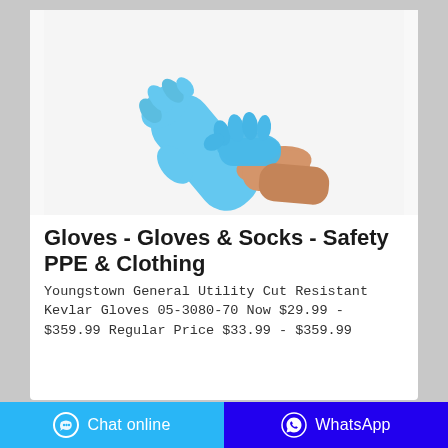[Figure (photo): Two hands wearing light blue nitrile/Kevlar gloves against a white background. One glove extends outward and upward, the other hand is being fitted with the glove at the wrist.]
Gloves - Gloves & Socks - Safety PPE & Clothing
Youngstown General Utility Cut Resistant Kevlar Gloves 05-3080-70 Now $29.99 - $359.99 Regular Price $33.99 - $359.99
Chat online   WhatsApp